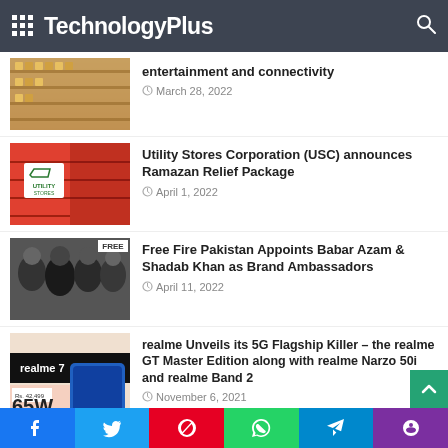TechnologyPlus
entertainment and connectivity
March 28, 2022
Utility Stores Corporation (USC) announces Ramazan Relief Package
April 1, 2022
Free Fire Pakistan Appoints Babar Azam & Shadab Khan as Brand Ambassadors
April 11, 2022
realme Unveils its 5G Flagship Killer – the realme GT Master Edition along with realme Narzo 50i and realme Band 2
November 6, 2021